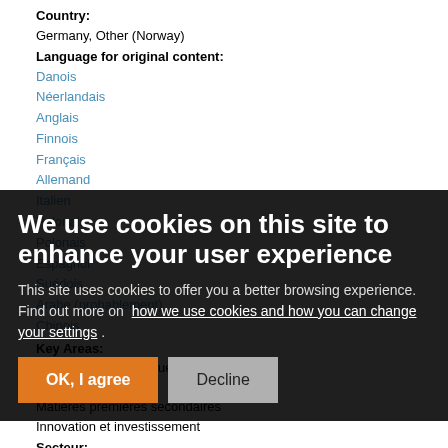Country:
Germany, Other (Norway)
Language for original content:
Danois
Néerlandais
Anglais
Finnois
Français
Allemand
Italien
Polonais
Polonais
Espagnol
Suédois
Arabe (probablement)
Chinois
Key Areas:
Changement climatique
Gestion des déchets
Matières premières secondaires
Innovation et investissement
Secteur:
Incitations comportementales
Solutions numériques
Emballage
Recyclage
We use cookies on this site to enhance your user experience
This site uses cookies to offer you a better browsing experience. Find out more on how we use cookies and how you can change your settings .